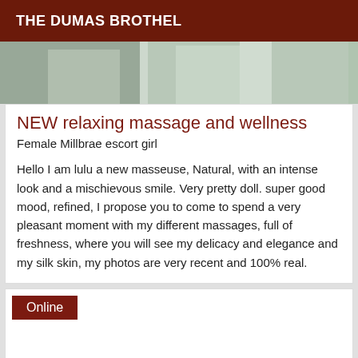THE DUMAS BROTHEL
[Figure (photo): Partial photo showing room interior with curtains and pillow, cropped at top]
NEW relaxing massage and wellness
Female Millbrae escort girl
Hello I am lulu a new masseuse, Natural, with an intense look and a mischievous smile. Very pretty doll. super good mood, refined, I propose you to come to spend a very pleasant moment with my different massages, full of freshness, where you will see my delicacy and elegance and my silk skin, my photos are very recent and 100% real.
Online